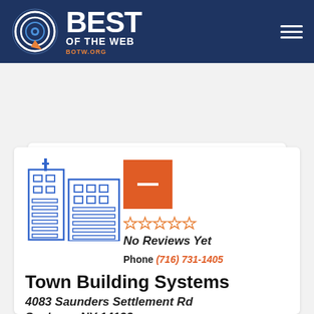[Figure (logo): Best of the Web (BOTW.ORG) logo on dark navy header with hamburger menu icon]
View Listing
[Figure (illustration): Blue outline illustration of city buildings / skyscrapers]
[Figure (logo): Orange square logo placeholder with white dash]
No Reviews Yet
Phone (716) 731-1405
Town Building Systems
4083 Saunders Settlement Rd
Sanborn, NY 14132
Town Building Systems offers residential and commercial insulation services in the Buffalo, New York area. We